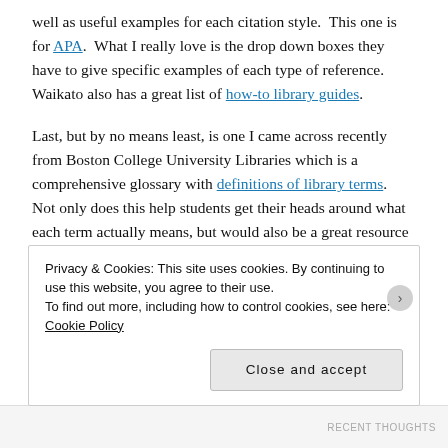well as useful examples for each citation style.  This one is for APA.  What I really love is the drop down boxes they have to give specific examples of each type of reference.  Waikato also has a great list of how-to library guides.
Last, but by no means least, is one I came across recently from Boston College University Libraries which is a comprehensive glossary with definitions of library terms.  Not only does this help students get their heads around what each term actually means, but would also be a great resource for students of information and library science who are also
Privacy & Cookies: This site uses cookies. By continuing to use this website, you agree to their use.
To find out more, including how to control cookies, see here: Cookie Policy
Close and accept
RECENT THOUGHTS